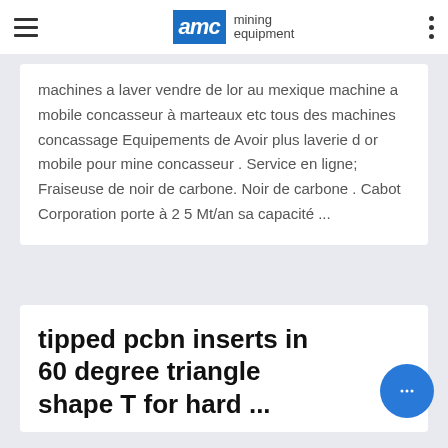AMC mining equipment
machines a laver vendre de lor au mexique machine a mobile concasseur à marteaux etc tous des machines concassage Equipements de Avoir plus laverie d or mobile pour mine concasseur . Service en ligne; Fraiseuse de noir de carbone. Noir de carbone . Cabot Corporation porte à 2 5 Mt/an sa capacité ...
tipped pcbn inserts in 60 degree triangle shape T for hard ...